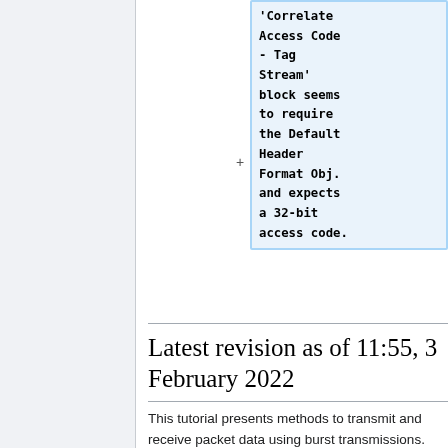[Figure (screenshot): Table of contents entry showing code text with blue highlight background: 'Correlate Access Code - Tag Stream' block seems to require the Default Header Format Obj. and expects a 32-bit access code.]
Latest revision as of 11:55, 3 February 2022
This tutorial presents methods to transmit and receive packet data using burst transmissions. The examples show data originating from a PDU message source. A hardware simulation is shown